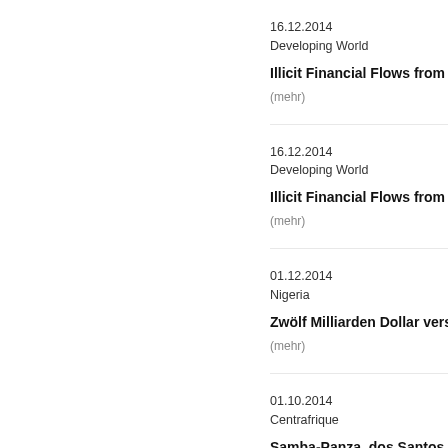16.12.2014
Developing World
Illicit Financial Flows from Develo…
(mehr)
16.12.2014
Developing World
Illicit Financial Flows from Develo…
(mehr)
01.12.2014
Nigeria
Zwölf Milliarden Dollar verschwin…
(mehr)
01.10.2014
Centrafrique
Samba-Panza, dos Santos et les 10…